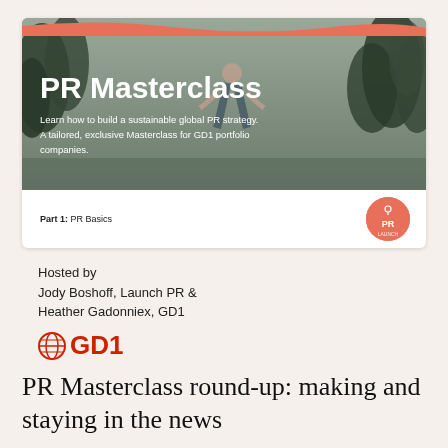[Figure (illustration): PR Masterclass slide card with photo background of person jumping, salmon wave divider, white bottom section with Part 1: PR Basics label and circular Launch PR logo]
Hosted by
Jody Boshoff, Launch PR &
Heather Gadonniex, GD1
[Figure (logo): GD1 logo with globe icon in red and bold red GD1 text]
PR Masterclass round-up: making and staying in the news